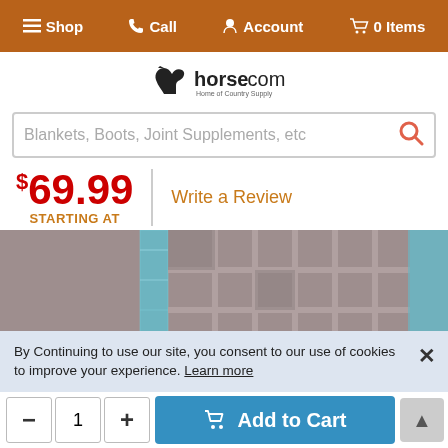Shop  Call  Account  0 Items
[Figure (logo): horse.com - Home of Country Supply logo with horse silhouette]
Blankets, Boots, Joint Supplements, etc
$69.99 STARTING AT  |  Write a Review
[Figure (photo): Close-up product photo showing grid/lattice structure of a horse blanket with metallic blue border and grey mesh interior]
By Continuing to use our site, you consent to our use of cookies to improve your experience. Learn more
- 1 +  Add to Cart